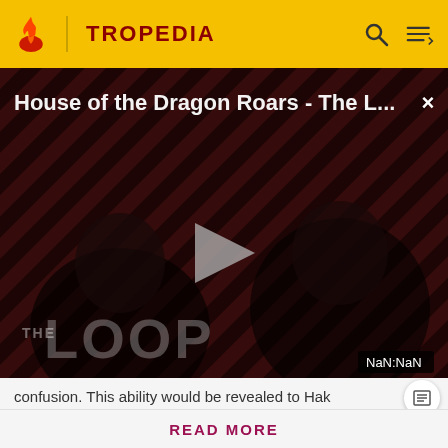TROPEDIA
[Figure (screenshot): Video player showing 'House of the Dragon Roars - The L...' with a play button in the center, diagonal stripe background, two dark silhouetted figures, 'THE LOOP' text overlay, and NaN:NaN time display]
confusion. This ability would be revealed to Hak
Before making a single edit, Tropedia EXPECTS our site policy and manual of style to be followed. Failure to do so may
READ MORE